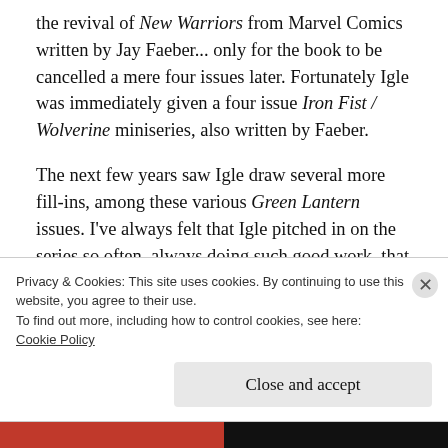the revival of New Warriors from Marvel Comics written by Jay Faeber... only for the book to be cancelled a mere four issues later. Fortunately Igle was immediately given a four issue Iron Fist / Wolverine miniseries, also written by Faeber.
The next few years saw Igle draw several more fill-ins, among these various Green Lantern issues. I've always felt that Igle pitched in on the series so often, always doing such good work, that DC should have just made him the
Privacy & Cookies: This site uses cookies. By continuing to use this website, you agree to their use.
To find out more, including how to control cookies, see here:
Cookie Policy